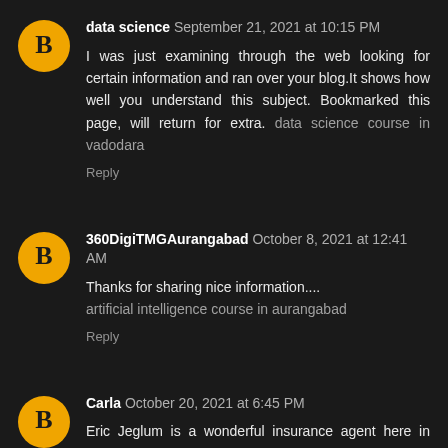data science  September 21, 2021 at 10:15 PM
I was just examining through the web looking for certain information and ran over your blog.It shows how well you understand this subject. Bookmarked this page, will return for extra. data science course in vadodara
Reply
360DigiTMGAurangabad  October 8, 2021 at 12:41 AM
Thanks for sharing nice information.... artificial intelligence course in aurangabad
Reply
Carla  October 20, 2021 at 6:45 PM
Eric Jeglum is a wonderful insurance agent here in Boise, he served his community by giving them the right policy they need in case of "mayhem". Contact us or you can